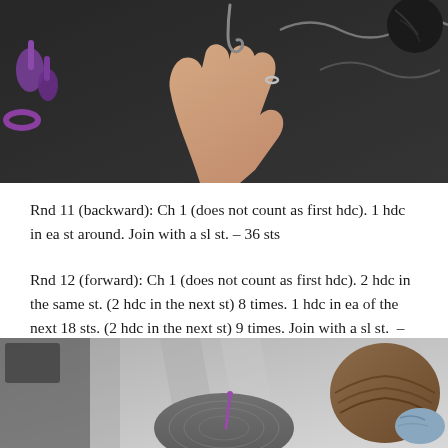[Figure (photo): Close-up photo of a hand holding a crochet hook with yarn on a dark background, with purple scissors visible on the left]
Rnd 11 (backward): Ch 1 (does not count as first hdc). 1 hdc in ea st around. Join with a sl st. – 36 sts
Rnd 12 (forward): Ch 1 (does not count as first hdc). 2 hdc in the same st. (2 hdc in the next st) 8 times. 1 hdc in ea of the next 18 sts. (2 hdc in the next st) 9 times. Join with a sl st.  – 54 sts
[Figure (photo): Overhead photo of crochet work in progress showing a gray crocheted hat with a crochet hook inserted, yarn and basket visible to the right]